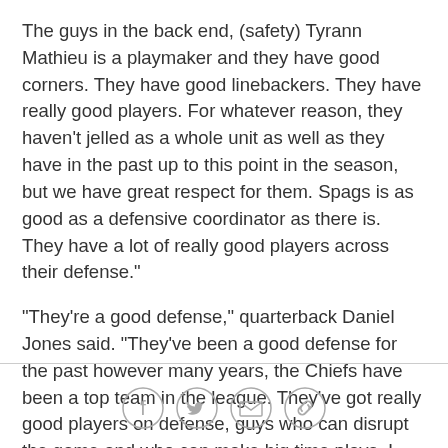The guys in the back end, (safety) Tyrann Mathieu is a playmaker and they have good corners. They have good linebackers. They have really good players. For whatever reason, they haven't jelled as a whole unit as well as they have in the past up to this point in the season, but we have great respect for them. Spags is as good as a defensive coordinator as there is. They have a lot of really good players across their defense."
"They're a good defense," quarterback Daniel Jones said. "They've been a good defense for the past however many years, the Chiefs have been a top team in the league. They've got really good players on defense, guys who can disrupt the game and who can make big time plays. I don't think there's anyone on our team or in this building who's going to overlook them."
[Figure (other): Social sharing icons: Facebook, Twitter, Email, Link]